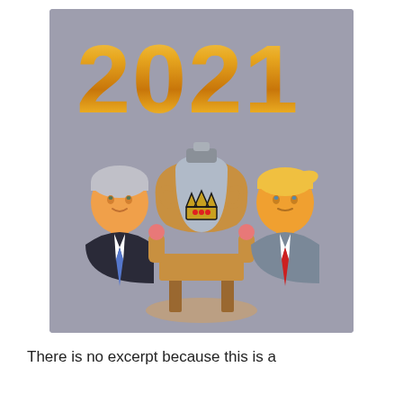[Figure (illustration): Gold metallic '2021' text at top on grey background, with three cartoon emoji-style icons below: a grey-haired man in dark suit (Biden-like) on the left, an ornate gold throne with a crown in the center, and a blonde man in grey suit with red tie (Trump-like) on the right.]
There is no excerpt because this is a